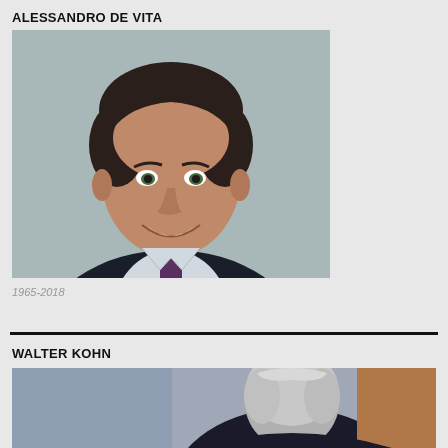ALESSANDRO DE VITA
[Figure (photo): Professional headshot of Alessandro De Vita, a middle-aged man with dark hair, wearing a dark suit and tie, smiling, against a gray background.]
1965-2018
WALTER KOHN
[Figure (photo): Partial photo of Walter Kohn, showing the back of an elderly man with gray hair.]